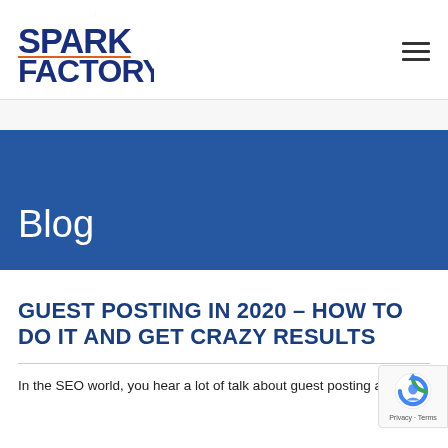Spark Factory
Blog
GUEST POSTING IN 2020 – HOW TO DO IT AND GET CRAZY RESULTS
In the SEO world, you hear a lot of talk about guest posting as a